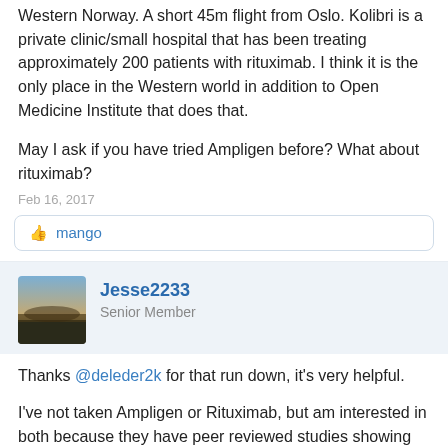Western Norway. A short 45m flight from Oslo. Kolibri is a private clinic/small hospital that has been treating approximately 200 patients with rituximab. I think it is the only place in the Western world in addition to Open Medicine Institute that does that.
May I ask if you have tried Ampligen before? What about rituximab?
Feb 16, 2017
mango
Jesse2233
Senior Member
Thanks @deleder2k for that run down, it's very helpful.
I've not taken Ampligen or Rituximab, but am interested in both because they have peer reviewed studies showing some efficacy